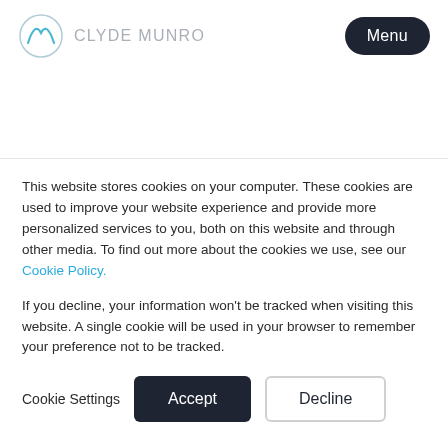CLYDE MUNRO | Menu
Confidentiality Policy
This website stores cookies on your computer. These cookies are used to improve your website experience and provide more personalized services to you, both on this website and through other media. To find out more about the cookies we use, see our Cookie Policy.
If you decline, your information won't be tracked when visiting this website. A single cookie will be used in your browser to remember your preference not to be tracked.
Cookie Settings | Accept | Decline